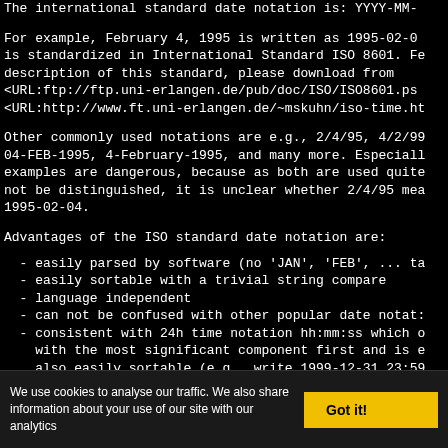The international standard date notation is: YYYY-MM-DD
For example, February 4, 1995 is written as 1995-02-04. This is standardized in International Standard ISO 8601. For a full description of this standard, please download from <URL:ftp://ftp.uni-erlangen.de/pub/doc/ISO/ISO8601.ps> <URL:http://www.ft.uni-erlangen.de/~mskuhn/iso-time.html>
Other commonly used notations are e.g., 2/4/95, 4/2/95, 04-FEB-1995, 4-February-1995, and many more. Especially the first two examples are dangerous, because as both are used quite often and can not be distinguished, it is unclear whether 2/4/95 means 1995-04-02 or 1995-02-04.
Advantages of the ISO standard date notation are:
- easily parsed by software (no 'JAN', 'FEB', ... ta
- easily sortable with a trivial string compare
- language independent
- can not be confused with other popular date notati
- consistent with 24h time notation hh:mm:ss which o   with the most significant component first and is a   also easily sortable (e.g., write 1999-12-31 23:59
- short and has constant length (makes keyboard data
- identical to the Chinese date notation, so the la
We use cookies to analyse our traffic. We also share information about your use of our site with our analytics
Got it!